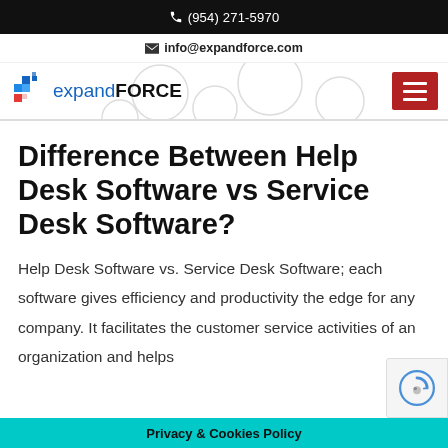📞 (954) 271-5970
✉ info@expandforce.com
[Figure (logo): expandFORCE logo with blue and red pixel-grid icon, text 'expand' in blue and 'FORCE' in dark]
Difference Between Help Desk Software vs Service Desk Software?
Help Desk Software vs. Service Desk Software; each software gives efficiency and productivity the edge for any company. It facilitates the customer service activities of an organization and helps